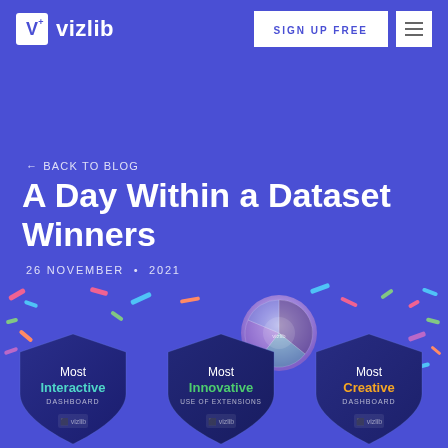vizlib | SIGN UP FREE
← BACK TO BLOG
A Day Within a Dataset Winners
26 NOVEMBER · 2021
[Figure (infographic): Three award shield badges: Most Interactive Dashboard, Most Innovative Use of Extensions, Most Creative Dashboard — with decorative confetti and two circular data visualizations above (a globe/donut chart and a number stat '1,947 cheers in all')]